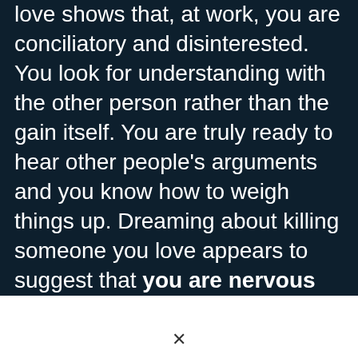love shows that, at work, you are conciliatory and disinterested. You look for understanding with the other person rather than the gain itself. You are truly ready to hear other people's arguments and you know how to weigh things up. Dreaming about killing someone you love appears to suggest that you are nervous when it comes to take initiatives or make decisions. You constantly try to get advice from your close friends in order to get an other opinion. You are sometimes idealistic and make arrangement that seem